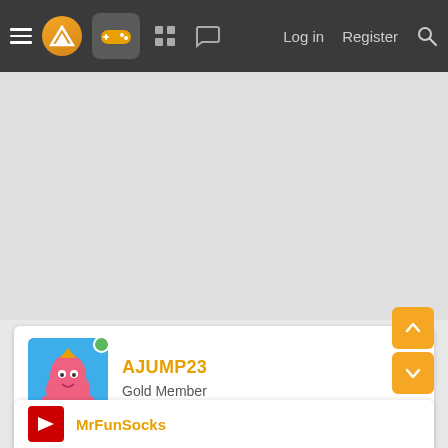Navigation bar with menu, logo, game controller icon, grid icon, chat icon, Log in, Register, Search
[Figure (screenshot): Grey advertisement/banner area]
AJUMP23
Gold Member
Jul 16, 2021  #53
Wing Commander!
👍 SaintBoot
MrFunSocks (partial, bottom card)